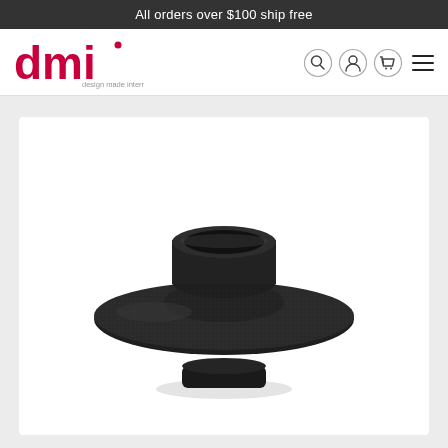All orders over $100 ship free
[Figure (logo): DMI logo with tagline 'design made international']
[Figure (photo): A black matte ceramic candle holder with a wide flat saucer-like brim and a small cylindrical cup at the top, sitting on a round flat base, photographed on white background]